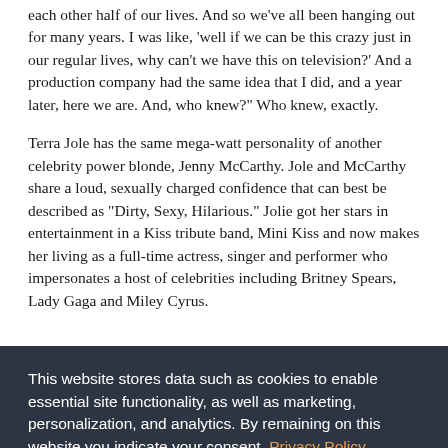each other half of our lives. And so we've all been hanging out for many years. I was like, 'well if we can be this crazy just in our regular lives, why can't we have this on television?' And a production company had the same idea that I did, and a year later, here we are. And, who knew?' Who knew, exactly.
Terra Jole has the same mega-watt personality of another celebrity power blonde, Jenny McCarthy. Jole and McCarthy share a loud, sexually charged confidence that can best be described as "Dirty, Sexy, Hilarious." Jolie got her stars in entertainment in a Kiss tribute band, Mini Kiss and now makes her living as a full-time actress, singer and performer who impersonates a host of celebrities including Britney Spears, Lady Gaga and Miley Cyrus.
This website stores data such as cookies to enable essential site functionality, as well as marketing, personalization, and analytics. By remaining on this website you indicate your consent. Privacy Policy